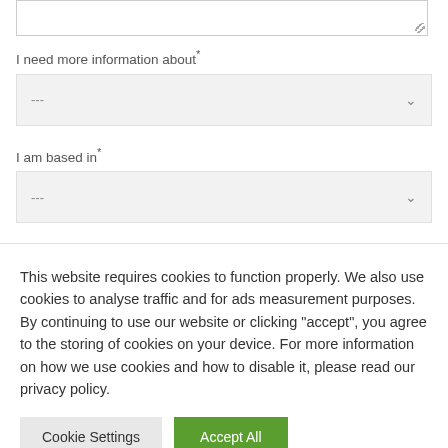I need more information about*
---
I am based in*
---
This website requires cookies to function properly. We also use cookies to analyse traffic and for ads measurement purposes. By continuing to use our website or clicking "accept", you agree to the storing of cookies on your device. For more information on how we use cookies and how to disable it, please read our privacy policy.
Cookie Settings
Accept All